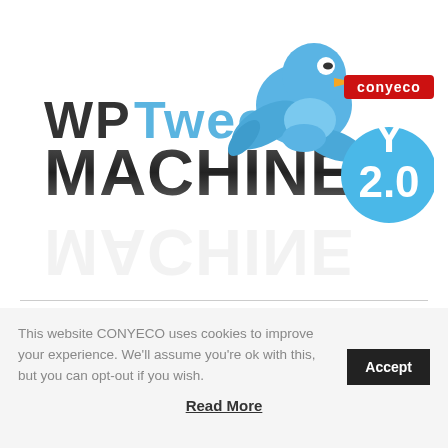[Figure (logo): WP Tweet Machine 2.0 logo with blue Twitter bird and Conyeco Y badge]
This website CONYECO uses cookies to improve your experience. We'll assume you're ok with this, but you can opt-out if you wish. Accept
Read More